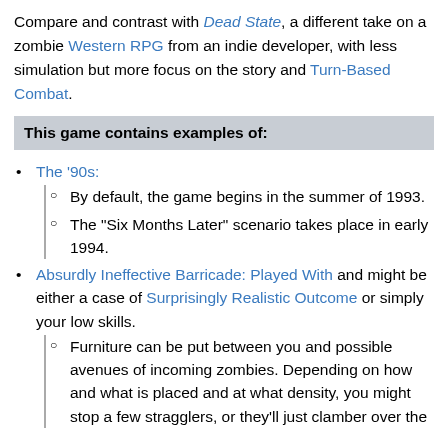Compare and contrast with Dead State, a different take on a zombie Western RPG from an indie developer, with less simulation but more focus on the story and Turn-Based Combat.
This game contains examples of:
The '90s:
By default, the game begins in the summer of 1993.
The "Six Months Later" scenario takes place in early 1994.
Absurdly Ineffective Barricade: Played With and might be either a case of Surprisingly Realistic Outcome or simply your low skills.
Furniture can be put between you and possible avenues of incoming zombies. Depending on how and what is placed and at what density, you might stop a few stragglers, or they'll just clamber over the